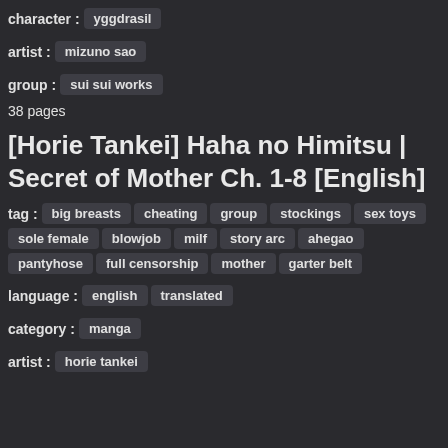character : yggdrasil
artist : mizuno sao
group : sui sui works
38 pages
[Horie Tankei] Haha no Himitsu | Secret of Mother Ch. 1-8 [English]
tag : big breasts cheating group stockings sex toys sole female blowjob milf story arc ahegao pantyhose full censorship mother garter belt
language : english translated
category : manga
artist : horie tankei